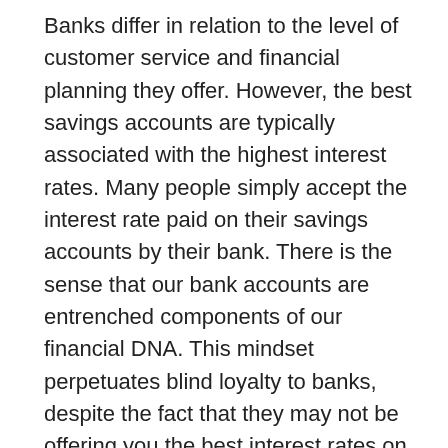Banks differ in relation to the level of customer service and financial planning they offer. However, the best savings accounts are typically associated with the highest interest rates. Many people simply accept the interest rate paid on their savings accounts by their bank. There is the sense that our bank accounts are entrenched components of our financial DNA. This mindset perpetuates blind loyalty to banks, despite the fact that they may not be offering you the best interest rates on your money. The FinTech sector has shattered this notion, by providing plenty more options to customers in this regard. In an era where low interest rates are pervasive, it is especially important to do the requisite legwork to find value for money.
High interest savings accounts, HISA certainly